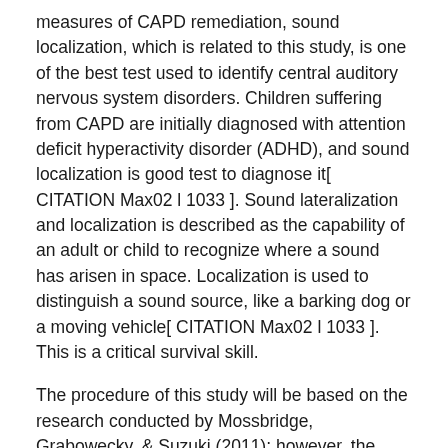measures of CAPD remediation, sound localization, which is related to this study, is one of the best test used to identify central auditory nervous system disorders. Children suffering from CAPD are initially diagnosed with attention deficit hyperactivity disorder (ADHD), and sound localization is good test to diagnose it[ CITATION Max02 l 1033 ]. Sound lateralization and localization is described as the capability of an adult or child to recognize where a sound has arisen in space. Localization is used to distinguish a sound source, like a barking dog or a moving vehicle[ CITATION Max02 l 1033 ]. This is a critical survival skill.
The procedure of this study will be based on the research conducted by Mossbridge, Grabowecky, & Suzuki (2011); however, the study will not involve frequency modulation.